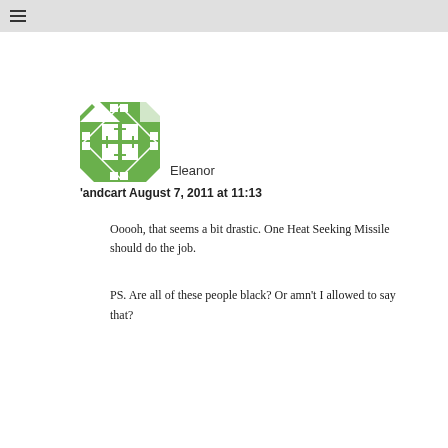≡
[Figure (illustration): Green geometric pixel-art avatar with diamond and square patterns]
Eleanor
'andcart August 7, 2011 at 11:13
Ooooh, that seems a bit drastic. One Heat Seeking Missile should do the job.
PS. Are all of these people black? Or amn't I allowed to say that?